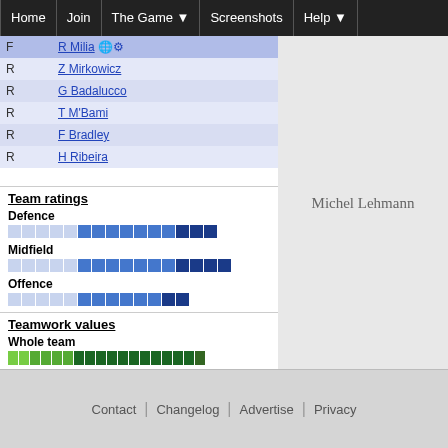Home | Join | The Game | Screenshots | Help
|  | Player |
| --- | --- |
| F | R Milia |
| R | Z Mirkowicz |
| R | G Badalucco |
| R | T M'Bami |
| R | F Bradley |
| R | H Ribeira |
Team ratings
Defence
[Figure (infographic): Blue bar chart for Defence rating]
Midfield
[Figure (infographic): Blue bar chart for Midfield rating]
Offence
[Figure (infographic): Blue bar chart for Offence rating]
Teamwork values
Whole team
[Figure (infographic): Green bar chart for Whole team teamwork]
Defence
[Figure (infographic): Green bar chart for Defence teamwork]
Midfield
[Figure (infographic): Green bar chart for Midfield teamwork]
Offence
[Figure (infographic): Green bar chart for Offence teamwork]
Michel Lehmann
Contact | Changelog | Advertise | Privacy